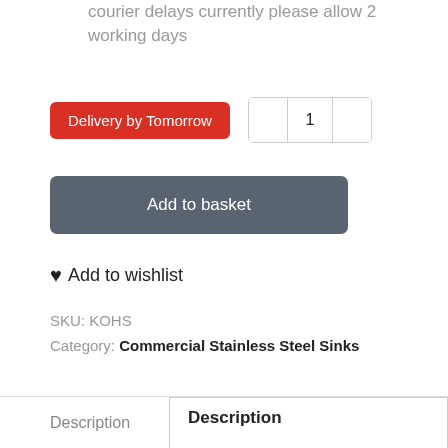courier delays currently please allow 2 working days
Delivery by Tomorrow
1
Add to basket
♥ Add to wishlist
SKU: KOHS
Category: Commercial Stainless Steel Sinks
Description
Description